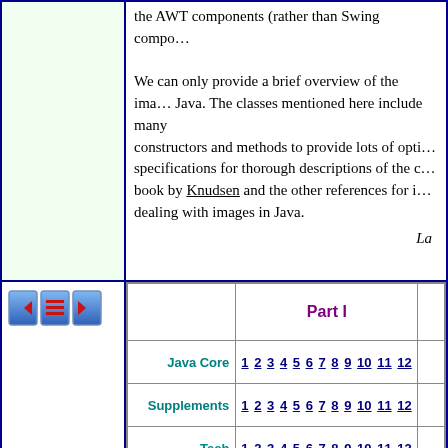the AWT components (rather than Swing components).
We can only provide a brief overview of the image classes in Java. The classes mentioned here include many constructors and methods to provide lots of options. See the specifications for thorough descriptions of the classes; see the book by Knudsen and the other references for information on dealing with images in Java.
La
[Figure (illustration): Navigation buttons: left arrow, menu/list icon, right arrow on blue background]
|  | Part I |  |
| --- | --- | --- |
| Java Core | 1 2 3 4 5 6 7 8 9 10 11 12 |  |
| Supplements | 1 2 3 4 5 6 7 8 9 10 11 12 |  |
| Tech | 1 2 3 4 5 6 7 8 9 10 11 12 |  |
| Physics | 1 2 3 4 5 6 7 8 9 10 11 12 |  |
| Java is a trademark of Sun Microsyst |  |  |